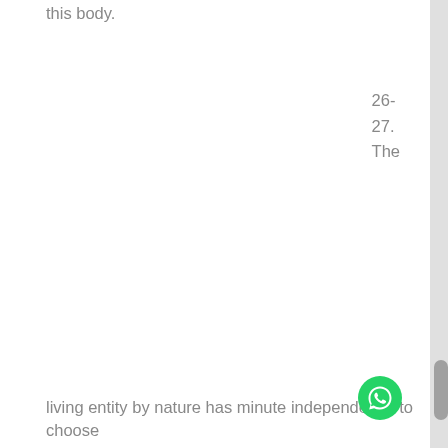this body.
26-
27.
The
living entity by nature has minute independence to choose